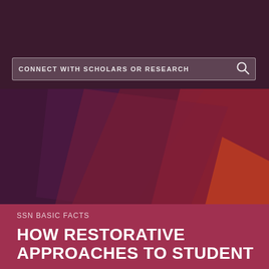SCHOLARS STRATEGY NETWORK
Donate
Menu
CONNECT WITH SCHOLARS OR RESEARCH
[Figure (illustration): Abstract geometric background with overlapping triangular shapes in dark purple, burgundy, dark red, and muted orange-red tones]
SSN BASIC FACTS
HOW RESTORATIVE APPROACHES TO STUDENT